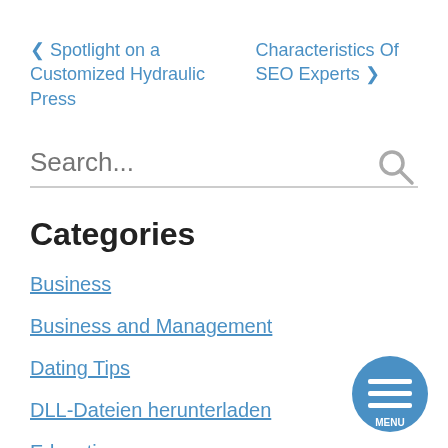‹ Spotlight on a Customized Hydraulic Press
Characteristics Of SEO Experts ›
Search...
Categories
Business
Business and Management
Dating Tips
DLL-Dateien herunterladen
Education